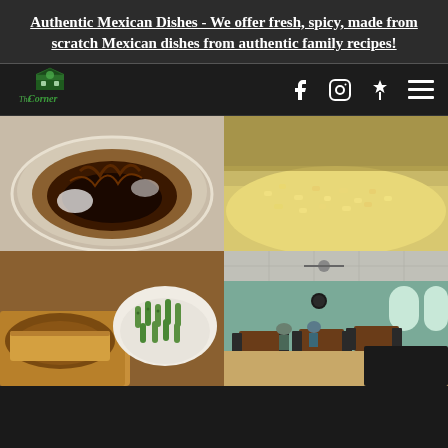Authentic Mexican Dishes - We offer fresh, spicy, made from scratch Mexican dishes from authentic family recipes!
[Figure (logo): The Corner restaurant logo - green barn/house icon with stylized text]
[Figure (photo): Close-up of a Mexican dish with chocolate/mole sauce drizzled over, on a white plate]
[Figure (photo): Close-up of yellow rice or corn dish on a white plate]
[Figure (photo): Close-up of gravy-covered open-faced sandwich and a white bowl of sliced okra/green beans]
[Figure (photo): Interior of The Corner restaurant showing dining tables, chairs, teal walls, and customers eating]